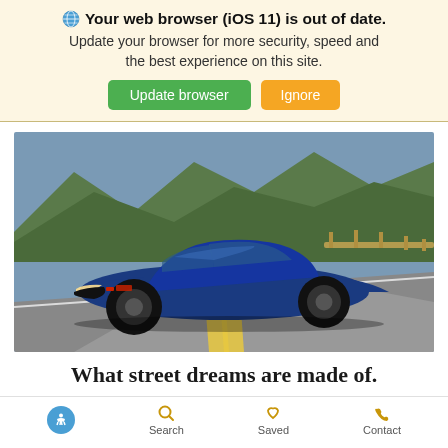Your web browser (iOS 11) is out of date. Update your browser for more security, speed and the best experience on this site. [Update browser] [Ignore]
[Figure (photo): Blue Chevrolet Camaro sports car driving on a winding mountain road]
What street dreams are made of.
Accessibility  Search  Saved  Contact